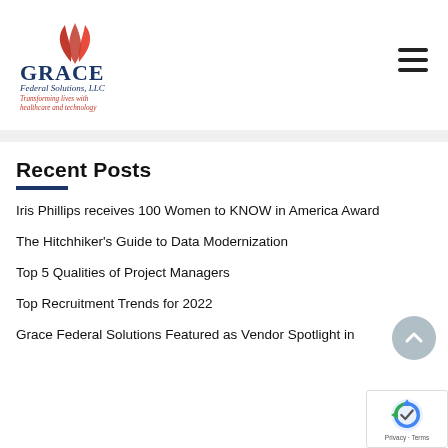[Figure (logo): Grace Federal Solutions, LLC logo with red flame/leaf icon, blue serif 'GRACE' text, 'Federal Solutions, LLC' in blue italic, and red italic tagline 'Transforming lives with healthcare and technology']
Recent Posts
Iris Phillips receives 100 Women to KNOW in America Award
The Hitchhiker's Guide to Data Modernization
Top 5 Qualities of Project Managers
Top Recruitment Trends for 2022
Grace Federal Solutions Featured as Vendor Spotlight in